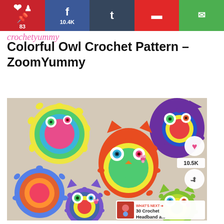Pinterest 83 | Facebook 10.4K | Tumblr | Flipboard | Email
Colorful Owl Crochet Pattern – ZoomYummy
[Figure (photo): Colorful crocheted owl coasters/appliques in various colors arranged on a surface, with text 'crochet pattern' watermark. Overlay shows save (heart) button, 10.5K count, share button, and What's Next panel for '30 Crochet Headband a...']